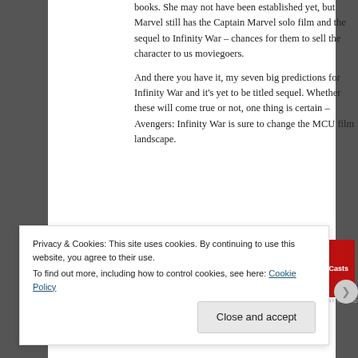books. She may not have been established yet, but Marvel still has the Captain Marvel solo film and the sequel to Infinity War – chances for them to sell the character to us moviegoers.
And there you have it, my seven big predictions for Infinity War and it's yet to be titled sequel. Whether these will come true or not, one thing is certain – Avengers: Infinity War is sure to change the MCU film landscape.
[Figure (photo): Advertisement banner for Pocket Casts app: red background with text 'An app by listeners, for listeners.' and Pocket Casts logo on the right]
REPORT THIS AD
Privacy & Cookies: This site uses cookies. By continuing to use this website, you agree to their use.
To find out more, including how to control cookies, see here: Cookie Policy
Close and accept